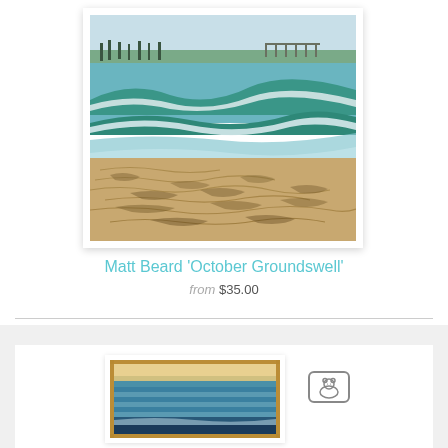[Figure (photo): Painting of an ocean beach scene with waves, sandy shore with rippled sand patterns, and a pier visible in the background. Green-tinted waves breaking on the beach.]
Matt Beard 'October Groundswell'
from $35.00
[Figure (photo): Second artwork partially visible — ocean scene with horizontal layered bands of blue water and a sunset sky, with a distressed/aged appearance.]